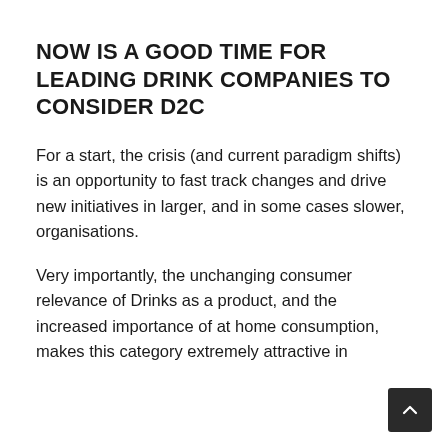NOW IS A GOOD TIME FOR LEADING DRINK COMPANIES TO CONSIDER D2C
For a start, the crisis (and current paradigm shifts) is an opportunity to fast track changes and drive new initiatives in larger, and in some cases slower, organisations.
Very importantly, the unchanging consumer relevance of Drinks as a product, and the increased importance of at home consumption, makes this category extremely attractive in